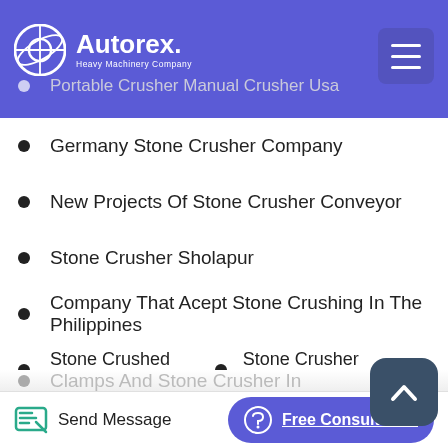Autorex Heavy Machinery Company
Stone Sand Crusher Manufacturers
Portable Crusher Manual Crusher Usa
Germany Stone Crusher Company
New Projects Of Stone Crusher Conveyor
Stone Crusher Sholapur
Company That Acept Stone Crushing In The Philippines
Stone Crushed Machine
Stone Crusher Production Line
Crusher Stone Crusher Wastage In
Stone Crushing Plant Prices
Design Of A Stone Stems Crusher
How To Install A Stone Crusher In Sri Lanka Permissio
Effective Stone Crusher